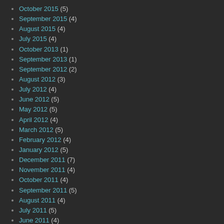October 2015 (5)
September 2015 (4)
August 2015 (4)
July 2015 (4)
October 2013 (1)
September 2013 (1)
September 2012 (2)
August 2012 (3)
July 2012 (4)
June 2012 (5)
May 2012 (5)
April 2012 (4)
March 2012 (5)
February 2012 (4)
January 2012 (5)
December 2011 (7)
November 2011 (4)
October 2011 (4)
September 2011 (5)
August 2011 (4)
July 2011 (5)
June 2011 (4)
May 2011 (4)
April 2011 (5)
March 2011 (4)
February 2011 (4)